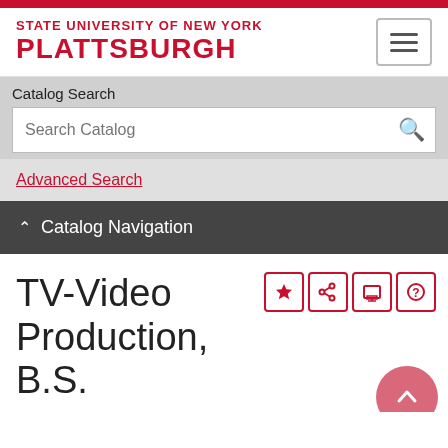STATE UNIVERSITY OF NEW YORK PLATTSBURGH
Catalog Search
Search Catalog
Advanced Search
Catalog Navigation
TV-Video Production, B.S.
Return to: Majors, Minors & Certificates